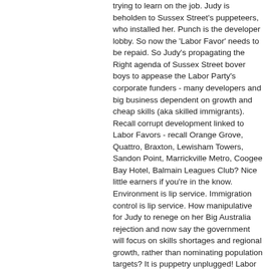trying to learn on the job. Judy is beholden to Sussex Street's puppeteers, who installed her. Punch is the developer lobby. So now the 'Labor Favor' needs to be repaid. So Judy's propagating the Right agenda of Sussex Street bover boys to appease the Labor Party's corporate funders - many developers and big business dependent on growth and cheap skills (aka skilled immigrants). Recall corrupt development linked to Labor Favors - recall Orange Grove, Quattro, Braxton, Lewisham Towers, Sandon Point, Marrickville Metro, Coogee Bay Hotel, Balmain Leagues Club? Nice little earners if you're in the know. Environment is lip service. Immigration control is lip service. How manipulative for Judy to renege on her Big Australia rejection and now say the government will focus on skills shortages and regional growth, rather than nominating population targets? It is puppetry unplugged! Labor policy is all about Labor, Labor, Labor and Labor mates. If your not wiv da Labor